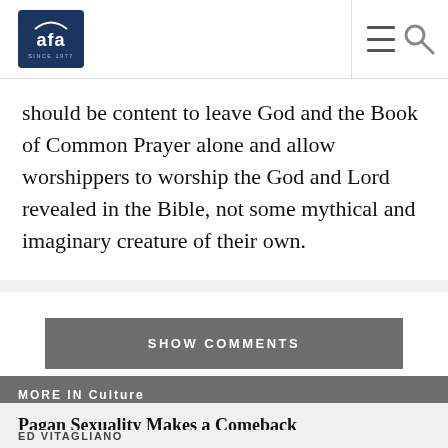[Figure (logo): AFA (American Family Association) logo — white letters on dark navy blue rounded rectangle, with 'SINCE 1977' text]
should be content to leave God and the Book of Common Prayer alone and allow worshippers to worship the God and Lord revealed in the Bible, not some mythical and imaginary creature of their own.
SHOW COMMENTS
MORE IN Culture
Pagan Sexuality Makes a Comeback
ED VITAGLIANO